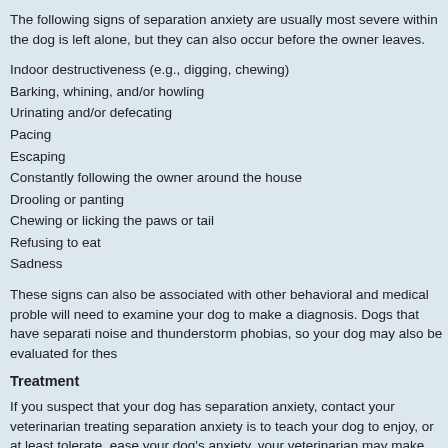The following signs of separation anxiety are usually most severe within the dog is left alone, but they can also occur before the owner leaves.
Indoor destructiveness (e.g., digging, chewing)
Barking, whining, and/or howling
Urinating and/or defecating
Pacing
Escaping
Constantly following the owner around the house
Drooling or panting
Chewing or licking the paws or tail
Refusing to eat
Sadness
These signs can also be associated with other behavioral and medical proble will need to examine your dog to make a diagnosis. Dogs that have separati noise and thunderstorm phobias, so your dog may also be evaluated for thes
Treatment
If you suspect that your dog has separation anxiety, contact your veterinarian treating separation anxiety is to teach your dog to enjoy, or at least tolerate, ease your dog’s anxiety, your veterinarian may make several recommendatio Before you begin any treatment plan, please thoroughly discuss it with your v
Don’t punish your dog. These anxious behaviors aren’t due to disobedience responses. If you punish your dog, he or she may become even more upset, problem.
Counterconditioning is a treatment that associates the sight or presence of a animal, place, object, or situation with something your dog enjoys. For dogs counterconditioning focuses on developing an association between being